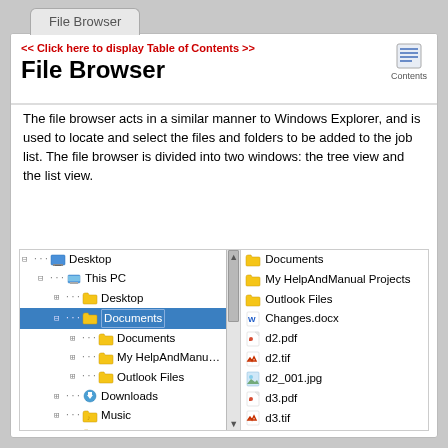File Browser
<< Click here to display Table of Contents >>
File Browser
The file browser acts in a similar manner to Windows Explorer, and is used to locate and select the files and folders to be added to the job list. The file browser is divided into two windows: the tree view and the list view.
[Figure (screenshot): File browser screenshot showing a tree view on the left with Desktop, This PC, Documents, Downloads, Music, Pictures, Videos, Local Disk (C:), DVD Drive (D:) OFFICE, T-DRIVE items; and a list view on the right showing Documents, My HelpAndManual Projects, Outlook Files, Changes.docx, d2.pdf, d2.tif, d2_001.jpg, d3.pdf, d3.tif, d3_001.jpg, Document1.tif, Document1_001.jpg, HMGlobalUserDict.adu, license.docx]